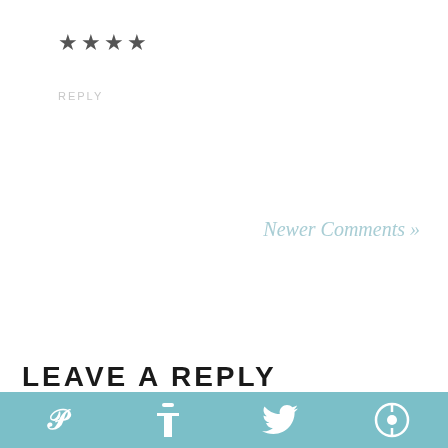★★★★
REPLY
Newer Comments »
LEAVE A REPLY
[Figure (infographic): Social sharing bar with Pinterest, Facebook, Twitter, and a share icon on teal/blue-green background]